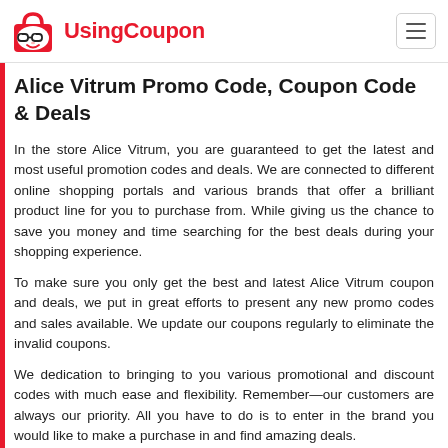UsingCoupon
Alice Vitrum Promo Code, Coupon Code & Deals
In the store Alice Vitrum, you are guaranteed to get the latest and most useful promotion codes and deals. We are connected to different online shopping portals and various brands that offer a brilliant product line for you to purchase from. While giving us the chance to save you money and time searching for the best deals during your shopping experience.
To make sure you only get the best and latest Alice Vitrum coupon and deals, we put in great efforts to present any new promo codes and sales available. We update our coupons regularly to eliminate the invalid coupons.
We dedication to bringing to you various promotional and discount codes with much ease and flexibility. Remember—our customers are always our priority. All you have to do is to enter in the brand you would like to make a purchase in and find amazing deals.